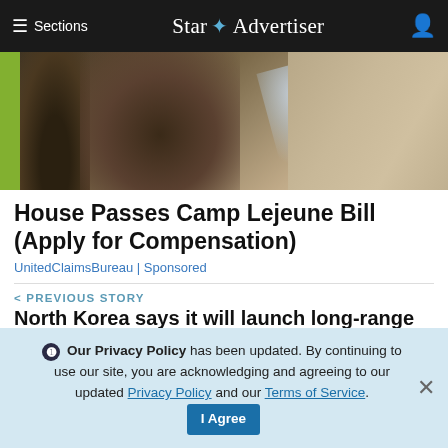≡ Sections   Star ✦ Advertiser
[Figure (photo): Military equipment or sculpture with water spray, photographed outdoors. Green strip on left edge.]
House Passes Camp Lejeune Bill (Apply for Compensation)
UnitedClaimsBureau | Sponsored
< PREVIOUS STORY
North Korea says it will launch long-range rocket soon
NEXT STORY >
❶ Our Privacy Policy has been updated. By continuing to use our site, you are acknowledging and agreeing to our updated Privacy Policy and our Terms of Service. I Agree